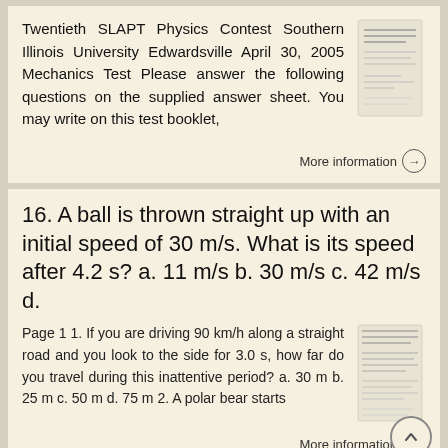Twentieth SLAPT Physics Contest Southern Illinois University Edwardsville April 30, 2005 Mechanics Test Please answer the following questions on the supplied answer sheet. You may write on this test booklet,
More information →
16. A ball is thrown straight up with an initial speed of 30 m/s. What is its speed after 4.2 s? a. 11 m/s b. 30 m/s c. 42 m/s d.
Page 1 1. If you are driving 90 km/h along a straight road and you look to the side for 3.0 s, how far do you travel during this inattentive period? a. 30 m b. 25 m c. 50 m d. 75 m 2. A polar bear starts
More information →
1. Which one of the following situations gives…